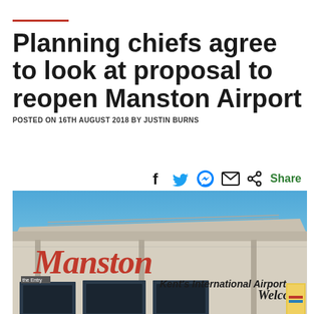Planning chiefs agree to look at proposal to reopen Manston Airport
POSTED ON 16TH AUGUST 2018 BY JUSTIN BURNS
[Figure (photo): Exterior of Manston airport terminal building showing the 'Manston Kent's International Airport' sign and 'Welcome' sign, under a clear blue sky.]